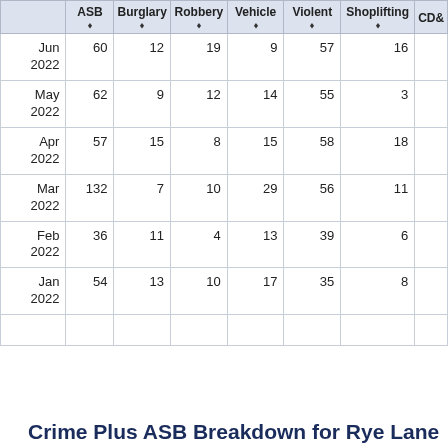|  | ASB | Burglary | Robbery | Vehicle | Violent | Shoplifting | CD& |
| --- | --- | --- | --- | --- | --- | --- | --- |
| Jun 2022 | 60 | 12 | 19 | 9 | 57 | 16 |  |
| May 2022 | 62 | 9 | 12 | 14 | 55 | 3 |  |
| Apr 2022 | 57 | 15 | 8 | 15 | 58 | 18 |  |
| Mar 2022 | 132 | 7 | 10 | 29 | 56 | 11 |  |
| Feb 2022 | 36 | 11 | 4 | 13 | 39 | 6 |  |
| Jan 2022 | 54 | 13 | 10 | 17 | 35 | 8 |  |
Crime Plus ASB Breakdown for Rye Lane